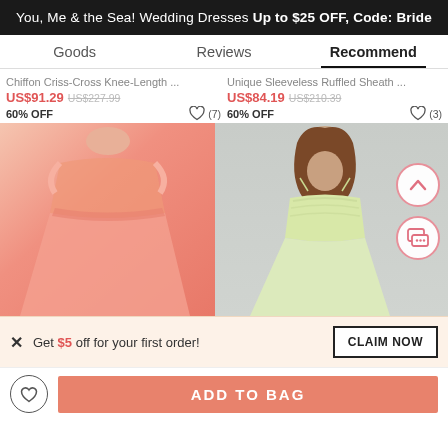You, Me & the Sea! Wedding Dresses Up to $25 OFF, Code: Bride
Goods | Reviews | Recommend
Chiffon Criss-Cross Knee-Length ...
US$91.29  US$227.99  60% OFF
[Figure (photo): Pink chiffon criss-cross knee-length dress on model]
Unique Sleeveless Ruffled Sheath ...
US$84.19  US$210.39  60% OFF
[Figure (photo): Yellow/cream sleeveless ruffled sheath dress on model]
Get $5 off for your first order!
CLAIM NOW
ADD TO BAG